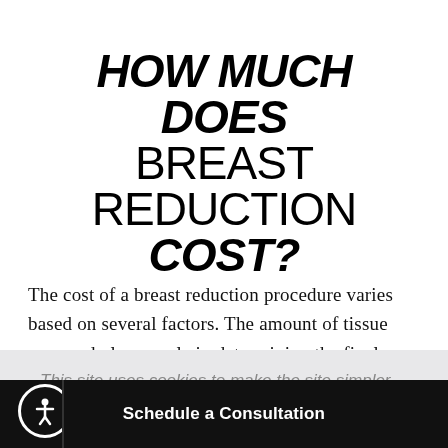HOW MUCH DOES BREAST REDUCTION COST?
The cost of a breast reduction procedure varies based on several factors. The amount of tissue removed plays a role in determining the final price, as do the
This site uses cookies to make the site simpler. Further information is provided in our Privacy Policy.
Schedule a Consultation